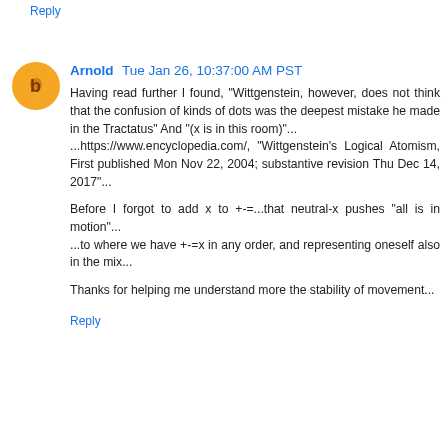Reply
Arnold  Tue Jan 26, 10:37:00 AM PST
Having read further I found, "Wittgenstein, however, does not think that the confusion of kinds of dots was the deepest mistake he made in the Tractatus" And "(x is in this room)"...
...https://www.encyclopedia.com/,  "Wittgenstein's  Logical Atomism, First published Mon Nov 22, 2004; substantive revision Thu Dec 14, 2017"...

Before I forgot to add x to +-=...that neutral-x pushes "all is in motion"...
...to where we have +-=x in any order, and representing oneself also in the mix...

Thanks for helping me understand more the stability of movement...
Reply